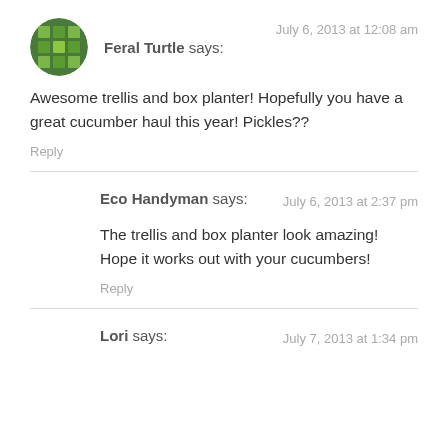Feral Turtle says: July 6, 2013 at 12:08 am
Awesome trellis and box planter! Hopefully you have a great cucumber haul this year! Pickles??
Reply
Eco Handyman says: July 6, 2013 at 2:37 pm
The trellis and box planter look amazing! Hope it works out with your cucumbers!
Reply
Lori says: July 7, 2013 at 1:34 pm